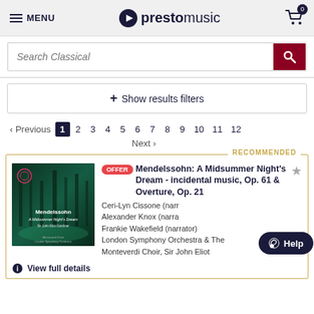MENU | prestomusic | Cart: 0
Search Classical
+ Show results filters
< Previous | 1 2 3 4 5 6 7 8 9 10 11 12 | Next >
RECOMMENDED
[Figure (photo): Album cover for Mendelssohn: A Midsummer Night's Dream, featuring a dark teal forest scene with Mendelssohn branding]
OFFER Mendelssohn: A Midsummer Night's Dream - incidental music, Op. 61 & Overture, Op. 21
Ceri-Lyn Cissone (narrator) Alexander Knox (narrator) Frankie Wakefield (narrator) London Symphony Orchestra & The Monteverdi Choir, Sir John Eliot
View full details